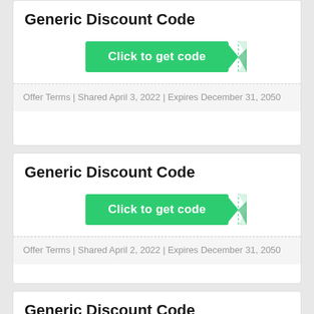Generic Discount Code
[Figure (other): Green 'Click to get code' button with folded corner tab]
Offer Terms | Shared April 3, 2022 | Expires December 31, 2050
Generic Discount Code
[Figure (other): Green 'Click to get code' button with folded corner tab]
Offer Terms | Shared April 2, 2022 | Expires December 31, 2050
Generic Discount Code